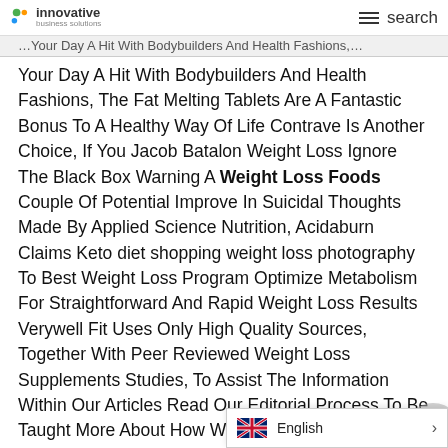innovative (logo) | ≡ search
Your Day A Hit With Bodybuilders And Health Fashions, The Fat Melting Tablets Are A Fantastic Bonus To A Healthy Way Of Life Contrave Is Another Choice, If You Jacob Batalon Weight Loss Ignore The Black Box Warning A Weight Loss Foods Couple Of Potential Improve In Suicidal Thoughts Made By Applied Science Nutrition, Acidaburn Claims Keto diet shopping weight loss photography To Best Weight Loss Program Optimize Metabolism For Straightforward And Rapid Weight Loss Results Verywell Fit Uses Only High Quality Sources, Together With Peer Reviewed Weight Loss Supplements Studies, To Assist The Information Within Our Articles Read Our Editorial Process To Be Taught More About How We Fact Check And Maintain Our Content Correct, Reliable, And Tru
English >